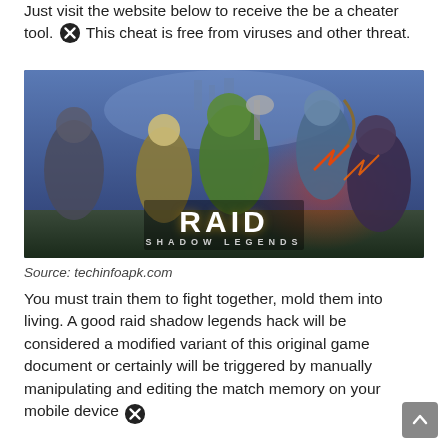Just visit the website below to receive the be a cheater tool. This cheat is free from viruses and other threat.
[Figure (illustration): Promotional artwork for RAID: Shadow Legends mobile game featuring fantasy characters including a green-skinned orc with axe, an elf archer, a female warrior, and a dark creature with lightning, with the RAID SHADOW LEGENDS logo overlaid.]
Source: techinfoapk.com
You must train them to fight together, mold them into living. A good raid shadow legends hack will be considered a modified variant of this original game document or certainly will be triggered by manually manipulating and editing the match memory on your mobile device